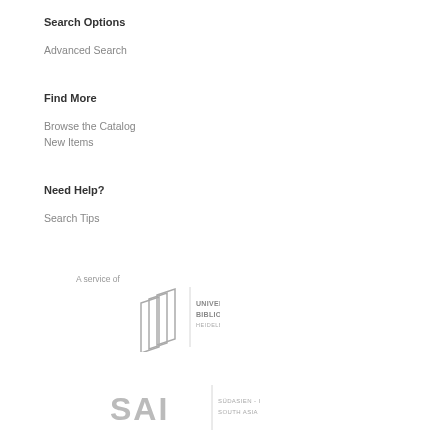Search Options
Advanced Search
Find More
Browse the Catalog
New Items
Need Help?
Search Tips
A service of
[Figure (logo): Universitätsbibliothek Heidelberg logo with book icon and vertical divider]
[Figure (logo): SAI Südasien-Institut South Asia Institute logo with vertical divider]